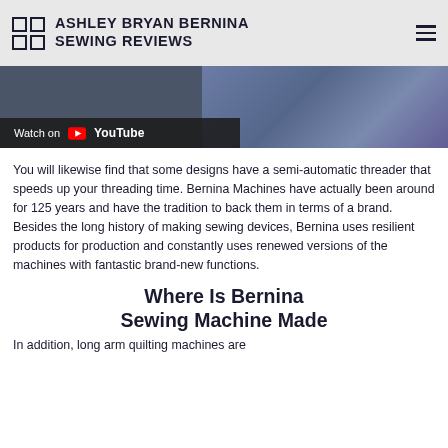ASHLEY BRYAN BERNINA SEWING REVIEWS
[Figure (screenshot): YouTube video thumbnail showing people with ropes and colorful threads, with a 'Watch on YouTube' overlay in the bottom left]
You will likewise find that some designs have a semi-automatic threader that speeds up your threading time. Bernina Machines have actually been around for 125 years and have the tradition to back them in terms of a brand. Besides the long history of making sewing devices, Bernina uses resilient products for production and constantly uses renewed versions of the machines with fantastic brand-new functions.
Where Is Bernina Sewing Machine Made
In addition, long arm quilting machines are